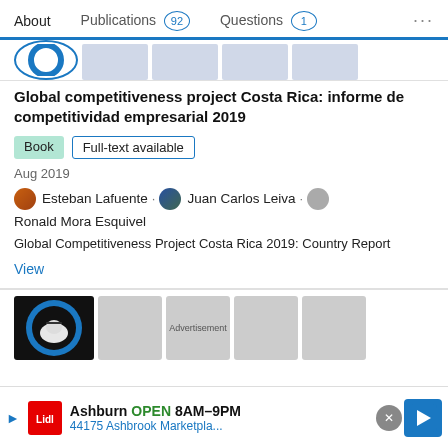About  Publications 92  Questions 1  ...
Global competitiveness project Costa Rica: informe de competitividad empresarial 2019
Book  Full-text available
Aug 2019
Esteban Lafuente · Juan Carlos Leiva · Ronald Mora Esquivel
Global Competitiveness Project Costa Rica 2019: Country Report
View
[Figure (screenshot): Advertisement banner: Ashburn OPEN 8AM–9PM, 44175 Ashbrook Marketpla..., Lidl logo, navigation arrow icon]